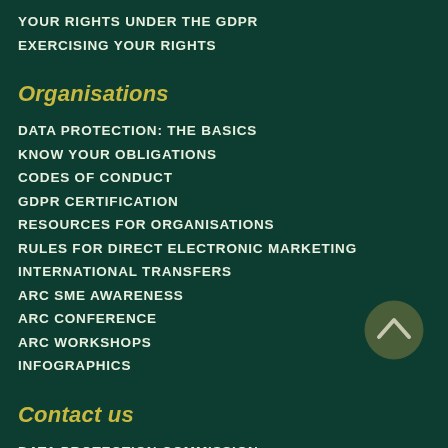YOUR RIGHTS UNDER THE GDPR
EXERCISING YOUR RIGHTS
Organisations
DATA PROTECTION: THE BASICS
KNOW YOUR OBLIGATIONS
CODES OF CONDUCT
GDPR CERTIFICATION
RESOURCES FOR ORGANISATIONS
RULES FOR DIRECT ELECTRONIC MARKETING
INTERNATIONAL TRANSFERS
ARC SME AWARENESS
ARC CONFERENCE
ARC WORKSHOPS
INFOGRAPHICS
Contact us
DATA PROTECTION COMMISSION